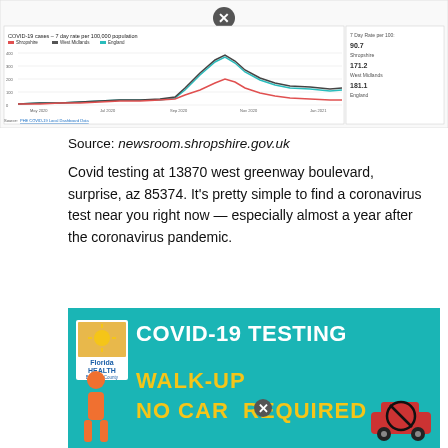[Figure (line-chart): Line chart showing COVID-19 7-day rate per 100,000 population for Shropshire, West Midlands, and England over time. Includes a sidebar showing 7 Day Rate per 100: Shropshire 90.7, West Midlands 171.2, England 181.1.]
Source: newsroom.shropshire.gov.uk
Covid testing at 13870 west greenway boulevard, surprise, az 85374. It's pretty simple to find a coronavirus test near you right now — especially almost a year after the coronavirus pandemic.
[Figure (infographic): Florida Health COVID-19 Testing Walk-Up No Car Required banner in teal with yellow text, Florida Health Broward County logo, person icon, and car with X.]